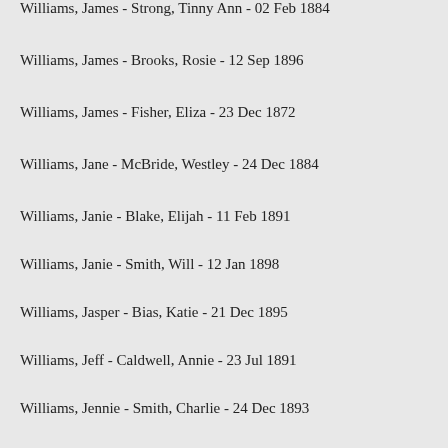Williams, James - Strong, Tinny Ann - 02 Feb 1884
Williams, James - Brooks, Rosie - 12 Sep 1896
Williams, James - Fisher, Eliza - 23 Dec 1872
Williams, Jane - McBride, Westley - 24 Dec 1884
Williams, Janie - Blake, Elijah - 11 Feb 1891
Williams, Janie - Smith, Will - 12 Jan 1898
Williams, Jasper - Bias, Katie - 21 Dec 1895
Williams, Jeff - Caldwell, Annie - 23 Jul 1891
Williams, Jennie - Smith, Charlie - 24 Dec 1893
Williams, Johanna - Pailer, Alex - 19 Oct 1899
Williams, John - Gray, Mary - 06 Mar 1883
Williams, John - Thompson, Susanah - 15 May 1890